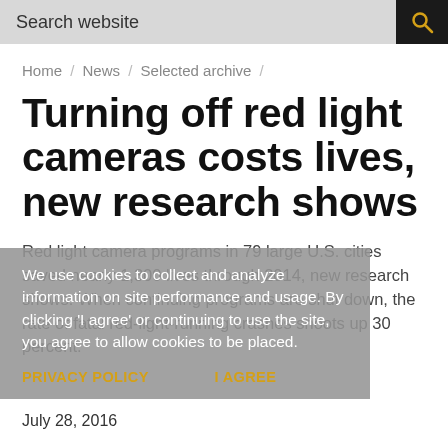Search website
Home / News / Selected archive /
Turning off red light cameras costs lives, new research shows
Red light camera programs in 79 large U.S. cities saved nearly 1,300 lives through 2014, new research shows. When continuing programs are shut down, the rate of fatal red-light-running crashes shoots up 30 percent.
We use cookies to collect and analyze information on site performance and usage. By clicking 'I agree' or continuing to use the site, you agree to allow cookies to be placed.
PRIVACY POLICY    I AGREE
July 28, 2016